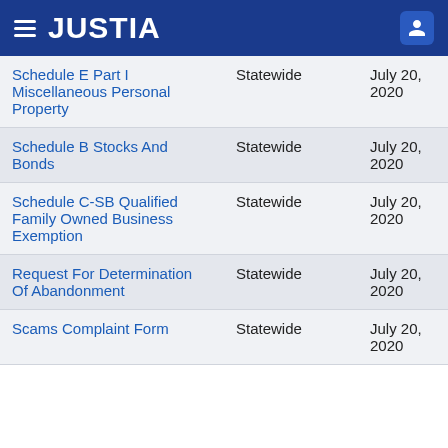JUSTIA
| Form | Scope | Date |
| --- | --- | --- |
| Schedule E Part I Miscellaneous Personal Property | Statewide | July 20, 2020 |
| Schedule B Stocks And Bonds | Statewide | July 20, 2020 |
| Schedule C-SB Qualified Family Owned Business Exemption | Statewide | July 20, 2020 |
| Request For Determination Of Abandonment | Statewide | July 20, 2020 |
| Scams Complaint Form | Statewide | July 20, 2020 |